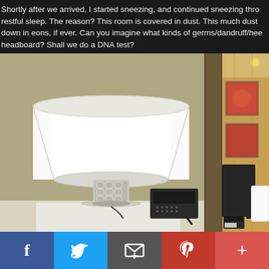Shortly after we arrived, I started sneezing, and continued sneezing thro... restful sleep. The reason? This room is covered in dust. This much dust ... down in eons, if ever. Can you imagine what kinds of germs/dandruff/hee... headboard? Shall we do a DNA test?
[Figure (photo): Hotel room bedside table lamp — large white drum shade on a geometric chrome/silver lattice base, sitting on a white nightstand. A black hotel telephone is visible in the background right. Taupe/beige textured wallpaper behind.]
[Figure (photo): Partial view of a hotel room showing a dark upholstered headboard, decorative framed red/orange artwork on a warm wood-paneled wall, white pillow, and a black telephone on a nightstand. Ceiling spotlight visible.]